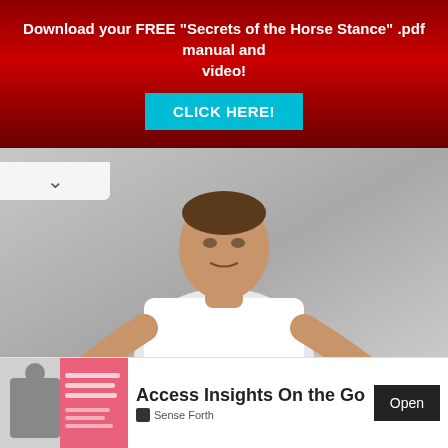Download your FREE "Secrets of the Horse Stance" .pdf manual and video!
CLICK HERE!
[Figure (photo): Man in white tank top in martial arts horse stance pose with hands extended outward]
[Figure (infographic): Advertisement banner: Access Insights On the Go - Sense Forth, featuring NEW YORK, LONDON OR SINGAPORE text and Open button]